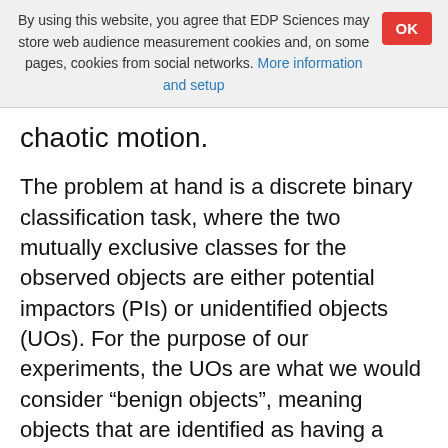By using this website, you agree that EDP Sciences may store web audience measurement cookies and, on some pages, cookies from social networks. More information and setup
chaotic motion.
The problem at hand is a discrete binary classification task, where the two mutually exclusive classes for the observed objects are either potential impactors (PIs) or unidentified objects (UOs). For the purpose of our experiments, the UOs are what we would consider “benign objects”, meaning objects that are identified as having a negligible chance of colliding with the Earth. To quantify the network’s accuracy, the standard cross-entropy cost function is used. This is defined